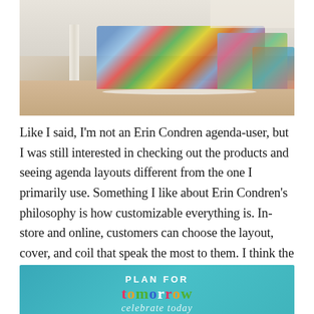[Figure (photo): Interior of an Erin Condren retail store showing display tables piled with colorful planners, notebooks, and stationery products on a light wood floor with white pillars.]
Like I said, I'm not an Erin Condren agenda-user, but I was still interested in checking out the products and seeing agenda layouts different from the one I primarily use. Something I like about Erin Condren's philosophy is how customizable everything is. In-store and online, customers can choose the layout, cover, and coil that speak the most to them. I think the ability you have to make your agenda completely unique to you is pretty cool!
[Figure (photo): Teal/turquoise background sign reading 'PLAN FOR tomorrow' with 'tomorrow' in multicolored letters (red, orange, green, blue) and cursive text below beginning to show.]